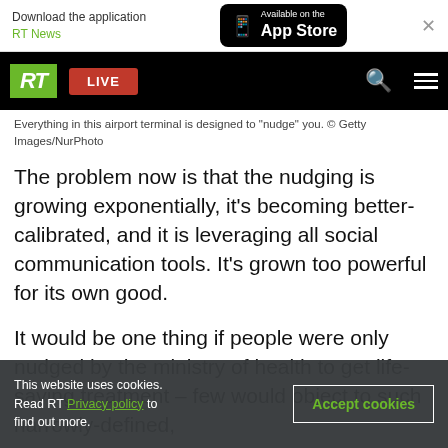[Figure (screenshot): App Store download banner with RT News branding. Shows 'Download the application RT News' on the left and 'Available on the App Store' button on the right with a close X button.]
[Figure (screenshot): RT website navigation bar with green RT logo, red LIVE button, search icon, and hamburger menu on black background.]
Everything in this airport terminal is designed to "nudge" you. © Getty Images/NurPhoto
The problem now is that the nudging is growing exponentially, it's becoming better-calibrated, and it is leveraging all social communication tools. It's grown too powerful for its own good.
It would be one thing if people were only nudged by the ministry of health to get life-saving treatment – few would object to such narrowly-defined,
[Figure (screenshot): Cookie consent banner at the bottom of the page. Text reads: 'This website uses cookies. Read RT Privacy policy to find out more.' with an 'Accept cookies' button.]